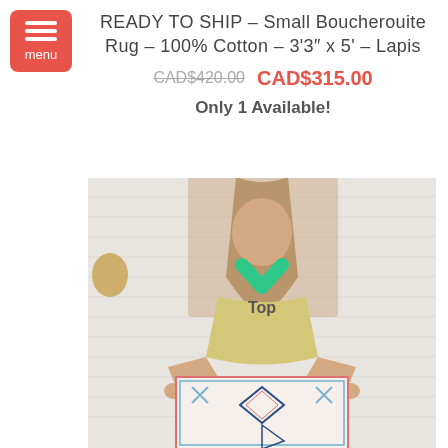[Figure (other): Red hamburger menu button with three white lines and 'menu' label]
READY TO SHIP – Small Boucherouite Rug – 100% Cotton – 3'3″ x 5' – Lapis
CAD$420.00  CAD$315.00
Only 1 Available!
[Figure (photo): A smiling woman with long hair holding up a small colorful Boucherouite rug in front of a white brick wall. The rug has geometric diamond and cross patterns in navy, pink, and teal on a white background. A green chevron 'Top' overlay is visible.]